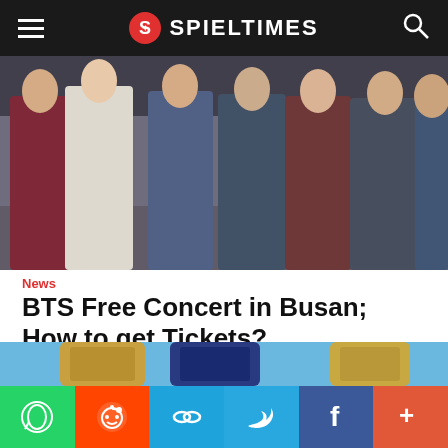SPIELTIMES
[Figure (photo): Group photo of BTS members standing together dressed in formal suits in various colors including white, blue, brown, and dark tones]
News
BTS Free Concert in Busan; How to get Tickets?
[Figure (photo): Multiple smartphones showing mobile app screens with gaming content, displayed on a light blue background]
WhatsApp | Reddit | Copy | Twitter | Facebook | More